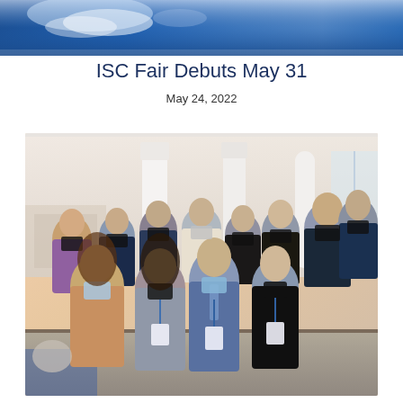[Figure (photo): Top banner photo with blue tones, appears to show a close-up abstract or medical image]
ISC Fair Debuts May 31
May 24, 2022
[Figure (photo): Group of approximately 13 students wearing face masks posing together indoors in a modern building with white columns. Students are dressed formally, some wearing lanyards with conference badges.]